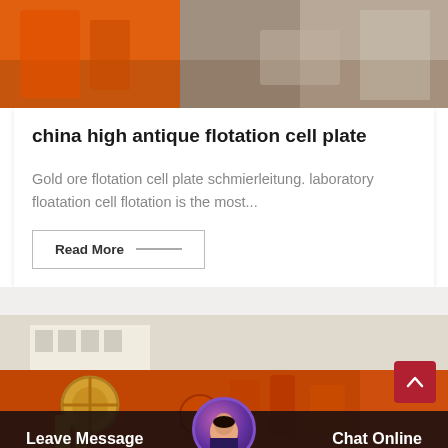[Figure (photo): Industrial machinery with orange equipment visible at top of page]
china high antique flotation cell plate
Gold ore flotation cell plate schmierleitung. laboratory floatation cell flotation is the most...
Read More —
[Figure (photo): Industrial mining machinery and equipment, orange colored, with building in background]
Leave Message   Chat Online